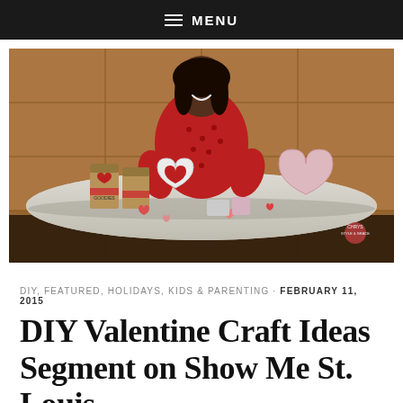≡ MENU
[Figure (photo): Woman in red polka dot dress smiling behind a curved table with Valentine's Day DIY craft supplies including paper bags decorated with hearts, heart cutouts in red and pink, and various craft materials, set against a brown tiled wall background.]
DIY, FEATURED, HOLIDAYS, KIDS & PARENTING · FEBRUARY 11, 2015
DIY Valentine Craft Ideas Segment on Show Me St. Louis